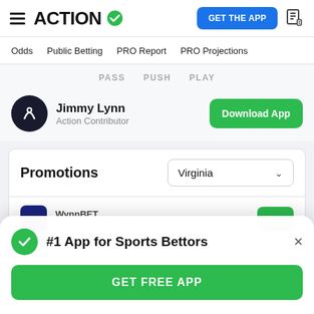ACTION (logo with checkmark) | GET THE APP | document icon
Odds | Public Betting | PRO Report | PRO Projections
PASS  PUSH  PLAY
Jimmy Lynn — Action Contributor | Download App
Promotions   Virginia (dropdown)
WynnBET — Get $100 FREE When You Bet P...
#1 App for Sports Bettors
GET FREE APP